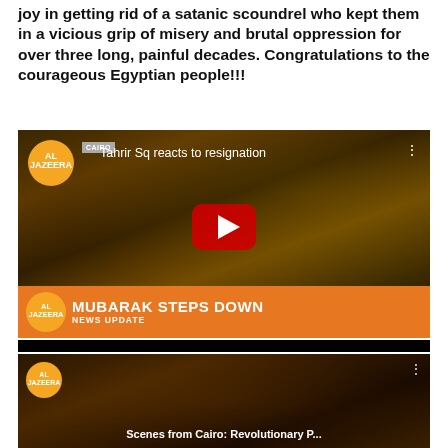joy in getting rid of a satanic scoundrel who kept them in a vicious grip of misery and brutal oppression for over three long, painful decades. Congratulations to the courageous Egyptian people!!!
[Figure (screenshot): Al Jazeera YouTube video thumbnail showing Tahrir Square crowds reacting to Mubarak's resignation, with orange lower-third bar reading 'MUBARAK STEPS DOWN / NEWS UPDATE']
[Figure (screenshot): Second Al Jazeera video thumbnail, partially visible, showing Cairo Revolutionary scenes]